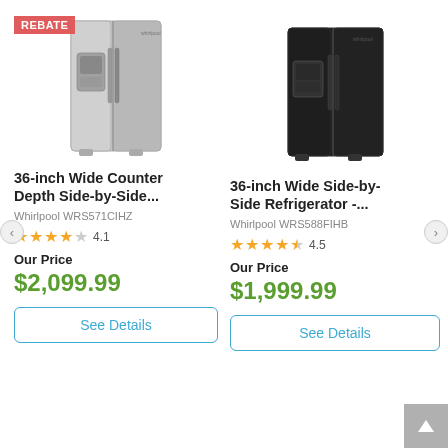[Figure (photo): Stainless steel side-by-side refrigerator with REBATE badge overlay]
[Figure (photo): Black side-by-side refrigerator]
36-inch Wide Counter Depth Side-by-Side...
36-inch Wide Side-by-Side Refrigerator -...
Whirlpool WRS571CIHZ
Whirlpool WRS588FIHB
4.1
4.5
Our Price
$2,099.99
Our Price
$1,999.99
See Details
See Details